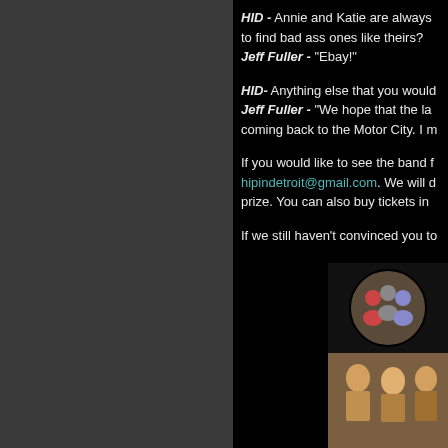HID - Annie and Katie are always to find bad ass ones like theirs? Jeff Fuller - "Ebay!"
HID- Anything else that you would Jeff Fuller - "We hope that the la coming back to the Motor City. I m
If you would like to see the band hipindetroit@gmail.com. We will prize. You can also buy tickets in
If we still haven't convinced you t
[Figure (photo): Photo of band members, circular crop on top and rectangular group photo below]